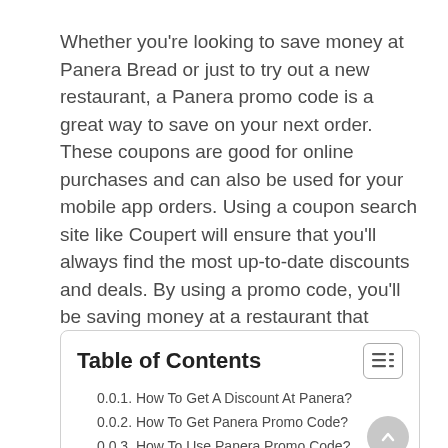Whether you're looking to save money at Panera Bread or just to try out a new restaurant, a Panera promo code is a great way to save on your next order. These coupons are good for online purchases and can also be used for your mobile app orders. Using a coupon search site like Coupert will ensure that you'll always find the most up-to-date discounts and deals. By using a promo code, you'll be saving money at a restaurant that offers a wide range of products and services.
Table of Contents
0.0.1. How To Get A Discount At Panera?
0.0.2. How To Get Panera Promo Code?
0.0.3. How To Use Panera Promo Code?